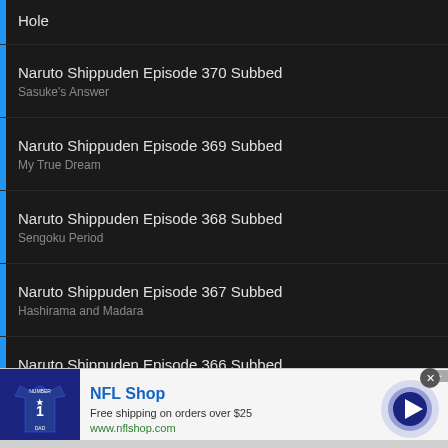Hole
Naruto Shippuden Episode 370 Subbed
Sasuke's Answer
Naruto Shippuden Episode 369 Subbed
My True Dream
Naruto Shippuden Episode 368 Subbed
Sengoku Period
Naruto Shippuden Episode 367 Subbed
Hashirama and Madara
Naruto Shippuden Episode 366 Subbed
The All-Knowing
[Figure (infographic): NFL Shop advertisement banner with football jersey image, NFL Shop title, 'Free shipping on orders over $25', www.nflshop.com, and a circular blue play/next button]